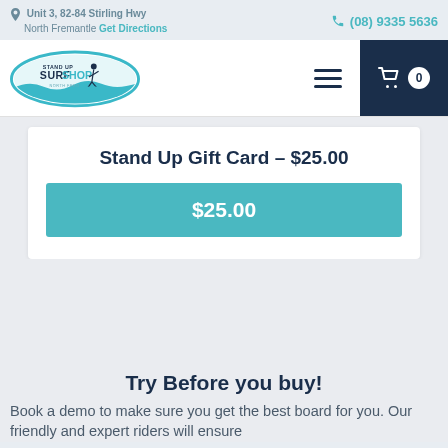Unit 3, 82-84 Stirling Hwy North Fremantle Get Directions | (08) 9335 5636
[Figure (logo): Stand Up Surf Shop North Freo oval logo with surfer silhouette]
Stand Up Gift Card – $25.00
$25.00
Try Before you buy!
Book a demo to make sure you get the best board for you. Our friendly and expert riders will ensure